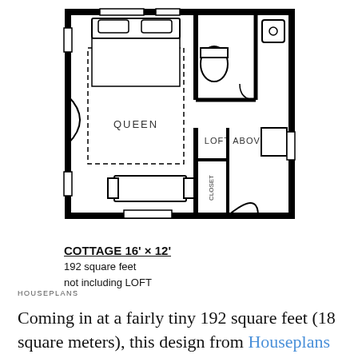[Figure (schematic): Floor plan of a cottage 16' x 12'. Shows main room with queen bed area, loft above section with bathroom (toilet and sink) and a closet, plus furniture including a sofa/couch and a bench/table. Entry door on the left side.]
COTTAGE 16' × 12'
192 square feet
not including LOFT
HOUSEPLANS
Coming in at a fairly tiny 192 square feet (18 square meters), this design from Houseplans has plenty of windows to let in natural light. The front door opens into the kitchen area, behind of which is the bathroom. There